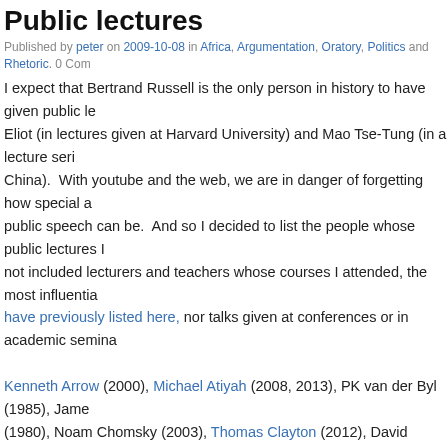Public lectures
Published by peter on 2009-10-08 in Africa, Argumentation, Oratory, Politics and Rhetoric. 0 Com...
I expect that Bertrand Russell is the only person in history to have given public le... Eliot (in lectures given at Harvard University) and Mao Tse-Tung (in a lecture seri... China). With youtube and the web, we are in danger of forgetting how special a... public speech can be. And so I decided to list the people whose public lectures I... not included lecturers and teachers whose courses I attended, the most influentia... have previously listed here, nor talks given at conferences or in academic semina...
Kenneth Arrow (2000), Michael Atiyah (2008, 2013), PK van der Byl (1985), Jame... (1980), Noam Chomsky (2003), Thomas Clayton (2012), David Coltart (2016), Jo... (1979), Don Dunstan (1976), Steve Fuller (2008), Dov Gabbay (2012), Julia Gilla... Gqabi (1981), Tim Harford (2011), Bob Hawke (1980), Xavier Herbert (1976), Am... (2009), Michael Kearns (2011), David Kilcullen (2013), Hans Kung (c. 1985), Kgo... Kgafela (1983), Bill Mansfield (1976-1980, several times), Robert May (2011, twi... Sese Seko (1981, at gunpoint), Moshoeshoe II (1982), Robert Mugabe (1981-7, ... Ralph Nader (c. 1977), Robert Oakeshott (c. 1985), Christos Papadimitriou (2009... Rifkind (2016), Joseph Rotblat (2002), Rory Stewart (2009), Oliver Tambo (1987)... (1981), Bono Thom (1979), John Tukey (c. 1979), Moshe Vardi (2010), Gough H...